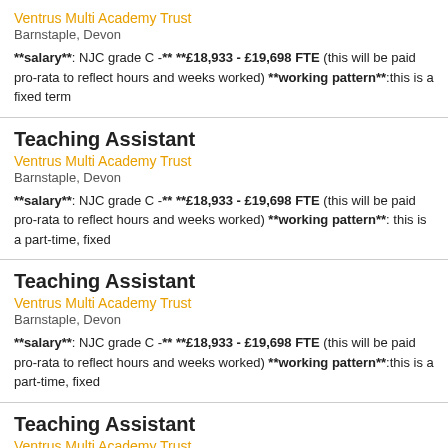Ventrus Multi Academy Trust
Barnstaple, Devon
**salary**: NJC grade C -** **£18,933 - £19,698 FTE (this will be paid pro-rata to reflect hours and weeks worked) **working pattern**:this is a fixed term
Teaching Assistant
Ventrus Multi Academy Trust
Barnstaple, Devon
**salary**: NJC grade C -** **£18,933 - £19,698 FTE (this will be paid pro-rata to reflect hours and weeks worked) **working pattern**: this is a part-time, fixed
Teaching Assistant
Ventrus Multi Academy Trust
Barnstaple, Devon
**salary**: NJC grade C -** **£18,933 - £19,698 FTE (this will be paid pro-rata to reflect hours and weeks worked) **working pattern**:this is a part-time, fixed
Teaching Assistant
Ventrus Multi Academy Trust
Barnstaple, Devon
**salary**:NJC grade C -** **£18,933 - £19,698 FTE (this will be paid pro-rata to reflect hours and weeks worked) **working pattern**:this is a fixed-term